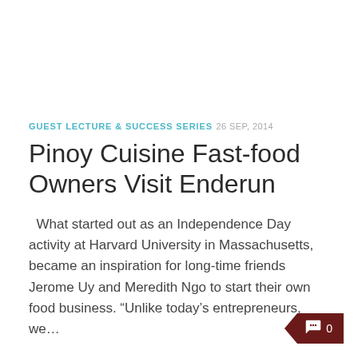GUEST LECTURE & SUCCESS SERIES  26 SEP, 2014
Pinoy Cuisine Fast-food Owners Visit Enderun
What started out as an Independence Day activity at Harvard University in Massachusetts, became an inspiration for long-time friends Jerome Uy and Meredith Ngo to start their own food business. “Unlike today’s entrepreneurs, we…